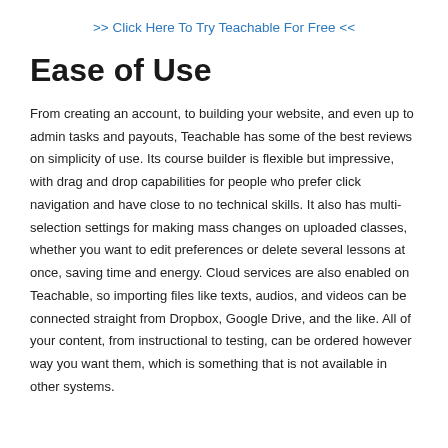>> Click Here To Try Teachable For Free <<
Ease of Use
From creating an account, to building your website, and even up to admin tasks and payouts, Teachable has some of the best reviews on simplicity of use. Its course builder is flexible but impressive, with drag and drop capabilities for people who prefer click navigation and have close to no technical skills. It also has multi-selection settings for making mass changes on uploaded classes, whether you want to edit preferences or delete several lessons at once, saving time and energy. Cloud services are also enabled on Teachable, so importing files like texts, audios, and videos can be connected straight from Dropbox, Google Drive, and the like. All of your content, from instructional to testing, can be ordered however way you want them, which is something that is not available in other systems.